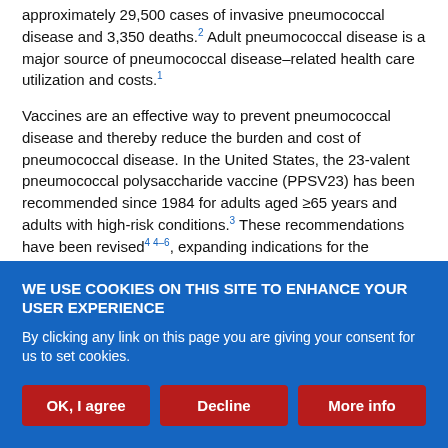approximately 29,500 cases of invasive pneumococcal disease and 3,350 deaths.2 Adult pneumococcal disease is a major source of pneumococcal disease–related health care utilization and costs.1
Vaccines are an effective way to prevent pneumococcal disease and thereby reduce the burden and cost of pneumococcal disease. In the United States, the 23-valent pneumococcal polysaccharide vaccine (PPSV23) has been recommended since 1984 for adults aged ≥65 years and adults with high-risk conditions.3 These recommendations have been revised4 4–6, expanding indications for the vaccination and introducing revaccination for some high-risk groups and for
WE USE COOKIES ON THIS SITE TO ENHANCE YOUR USER EXPERIENCE
By clicking any link on this page you are giving your consent for us to set cookies.